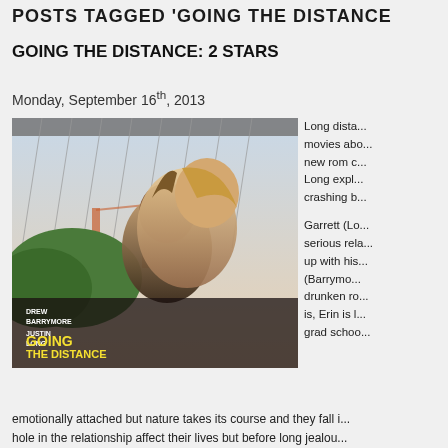POSTS TAGGED 'GOING THE DISTANCE'
GOING THE DISTANCE: 2 STARS
Monday, September 16th, 2013
[Figure (photo): Movie poster for Going the Distance featuring Drew Barrymore and Justin Long embracing under a bridge with the Golden Gate Bridge in the background. The title 'GOING THE DISTANCE' is displayed in yellow text at the bottom left.]
Long dista... movies abo... new rom c... Long expl... crashing b... Garrett (Lo... serious rela... up with his... (Barrymo... drunken ro... is, Erin is l... grad schoo...
emotionally attached but nature takes its course and they fall i... hole in the relationship affect their lives but before long jealou...